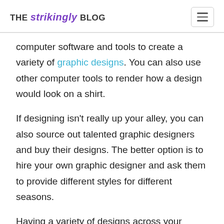THE strikingly BLOG
computer software and tools to create a variety of graphic designs. You can also use other computer tools to render how a design would look on a shirt.
If designing isn't really up your alley, you can also source out talented graphic designers and buy their designs. The better option is to hire your own graphic designer and ask them to provide different styles for different seasons.
Having a variety of designs across your products gives you the opportunity to attract